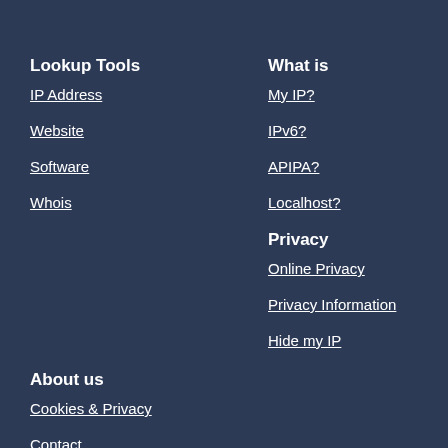Lookup Tools
IP Address
Website
Software
Whois
What is
My IP?
IPv6?
APIPA?
Localhost?
Privacy
Online Privacy
Privacy Information
Hide my IP
About us
Cookies & Privacy
Contact